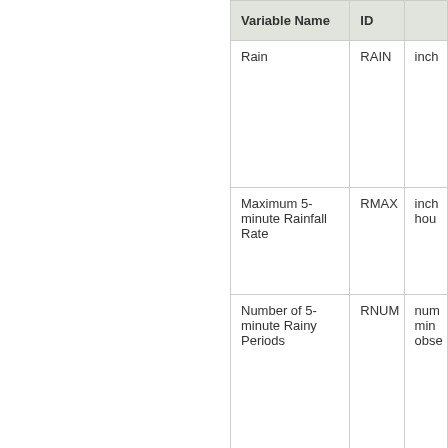| Variable Name | ID |  |
| --- | --- | --- |
| Rain | RAIN | inch |
| Maximum 5-minute Rainfall Rate | RMAX | inch hour |
| Number of 5-minute Rainy Periods | RNUM | num min obse |
| Number of | RBAD | num |